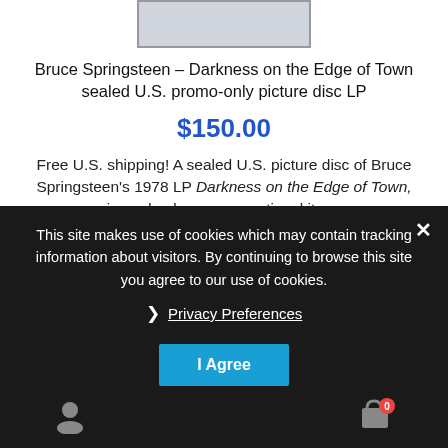[Figure (photo): Partial view of a Bruce Springsteen Darkness on the Edge of Town LP album cover image, top portion visible]
Bruce Springsteen – Darkness on the Edge of Town sealed U.S. promo-only picture disc LP
$150.00
Free U.S. shipping! A sealed U.S. picture disc of Bruce Springsteen's 1978 LP Darkness on the Edge of Town, issued only as a promotional item.
Add to cart
This site makes use of cookies which may contain tracking information about visitors. By continuing to browse this site you agree to our use of cookies.
❯ Privacy Preferences
I Agree